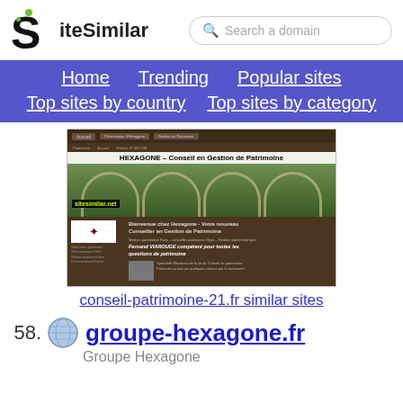[Figure (logo): SiteSimilar logo with stylized S and green dots]
Search a domain
Home  Trending  Popular sites  Top sites by country  Top sites by category
[Figure (screenshot): Screenshot of conseil-patrimoine-21.fr showing HEXAGONE – Conseil en Gestion de Patrimoine website with brown theme, arches photo, and sitesimilar.net watermark]
conseil-patrimoine-21.fr similar sites
58.  groupe-hexagone.fr
Groupe Hexagone